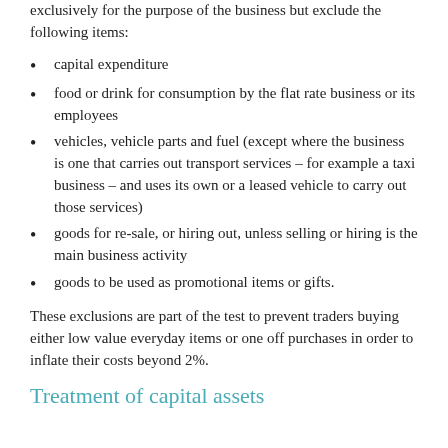exclusively for the purpose of the business but exclude the following items:
capital expenditure
food or drink for consumption by the flat rate business or its employees
vehicles, vehicle parts and fuel (except where the business is one that carries out transport services – for example a taxi business – and uses its own or a leased vehicle to carry out those services)
goods for re-sale, or hiring out, unless selling or hiring is the main business activity
goods to be used as promotional items or gifts.
These exclusions are part of the test to prevent traders buying either low value everyday items or one off purchases in order to inflate their costs beyond 2%.
Treatment of capital assets